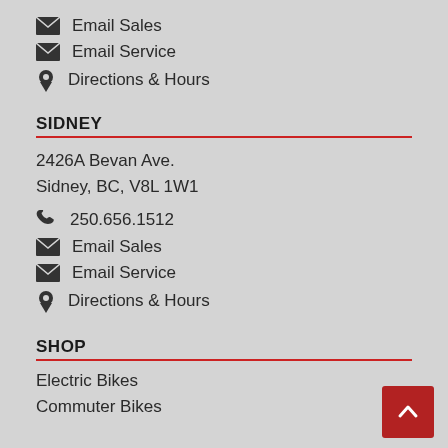Email Sales
Email Service
Directions & Hours
SIDNEY
2426A Bevan Ave.
Sidney, BC, V8L 1W1
250.656.1512
Email Sales
Email Service
Directions & Hours
SHOP
Electric Bikes
Commuter Bikes